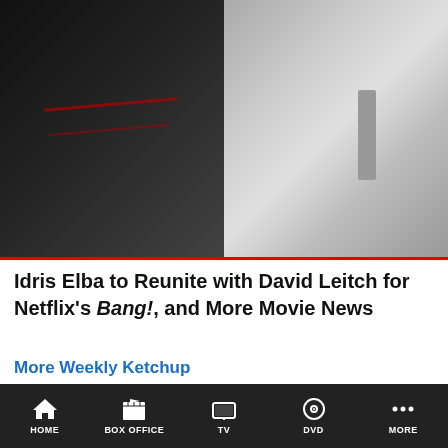[Figure (photo): Two men posing together — one in a black athletic shirt with red stripes, one in a navy suit with a gray tie. Red border at bottom of image.]
Idris Elba to Reunite with David Leitch for Netflix's Bang!, and More Movie News
More Weekly Ketchup
Rotten Tomatoes Comment Policy
Comment section provided by Disqus. Read their Privacy Policy below to see how they use your information.
Please read our Comment Policy before
HOME | BOX OFFICE | TV | DVD | MORE